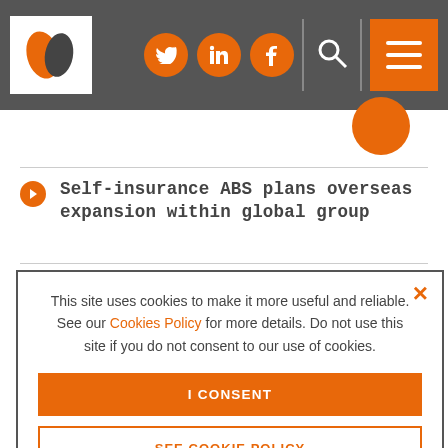Navigation header with logo, social icons (Twitter, LinkedIn, Facebook), search, and menu
Self-insurance ABS plans overseas expansion within global group
Florida becomes latest state to move towards allowing ABSs
This site uses cookies to make it more useful and reliable. See our Cookies Policy for more details. Do not use this site if you do not consent to our use of cookies.
I CONSENT
SEE COOKIE POLICY